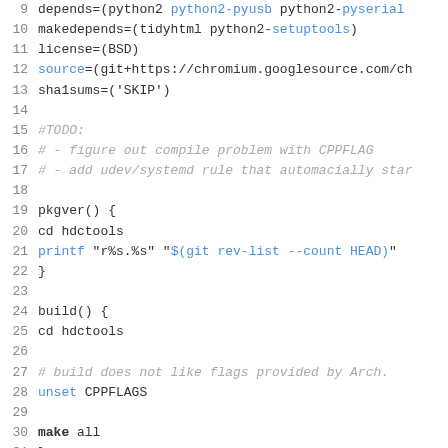[Figure (screenshot): Code editor screenshot showing lines 9-38 of a PKGBUILD script with syntax highlighting. Blue text for keywords and variables, gray italic for comments, black for regular code.]